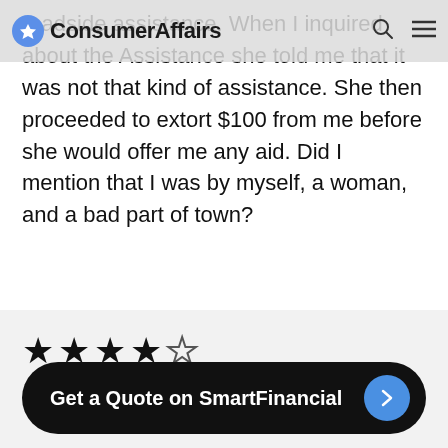ConsumerAffairs
roadside assistance. When I inquired about the Assistance she told me that it was not that kind of assistance. She then proceeded to extort $100 from me before she would offer me any aid. Did I mention that I was by myself, a woman, and a bad part of town?
Read full review ∨
👍 Helpful
11 people found this review helpful
[Figure (other): 4 out of 5 stars rating — four filled black stars and one empty outline star]
Get a Quote on SmartFinancial